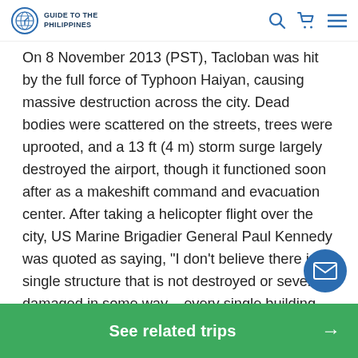Guide to the Philippines — navigation bar with logo, search, cart, and menu icons
On 8 November 2013 (PST), Tacloban was hit by the full force of Typhoon Haiyan, causing massive destruction across the city. Dead bodies were scattered on the streets, trees were uprooted, and a 13 ft (4 m) storm surge largely destroyed the airport, though it functioned soon after as a makeshift command and evacuation center. After taking a helicopter flight over the city, US Marine Brigadier General Paul Kennedy was quoted as saying, "I don't believe there is a single structure that is not destroyed or severely damaged in some way – every single building, every single house." Widespread looting and violence is reported to have taken place and local government virtually collapsed, as many city officials were victims. President Aquino declared a state of
[Figure (other): Blue circular email/contact button with envelope icon]
See related trips →